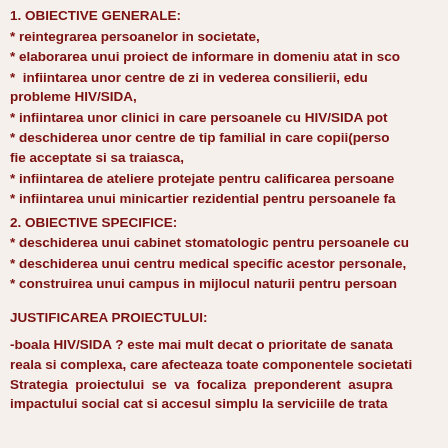1. OBIECTIVE GENERALE:
* reintegrarea persoanelor in societate,
* elaborarea unui proiect de informare in domeniu atat in sco
* infiintarea unor centre de zi in vederea consilierii, edu probleme HIV/SIDA,
* infiintarea unor clinici in care persoanele cu HIV/SIDA pot
* deschiderea unor centre de tip familial in care copii(perso fie acceptate si sa traiasca,
* infiintarea de ateliere protejate pentru calificarea persoane
* infiintarea unui minicartier rezidential pentru persoanele fa
2. OBIECTIVE SPECIFICE:
* deschiderea unui cabinet stomatologic pentru persoanele cu
* deschiderea unui centru medical specific acestor personale,
* construirea unui campus in mijlocul naturii pentru persoan
JUSTIFICAREA PROIECTULUI:
-boala HIV/SIDA ? este mai mult decat o prioritate de sanata reala si complexa, care afecteaza toate componentele societati Strategia proiectului se va focaliza preponderent asupra impactului social cat si accesul simplu la serviciile de trata